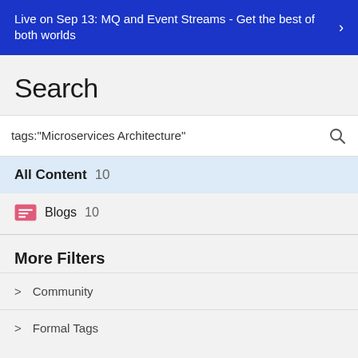Live on Sep 13: MQ and Event Streams - Get the best of both worlds →
Search
tags:"Microservices Architecture"
All Content  10
Blogs  10
More Filters
Community
Formal Tags